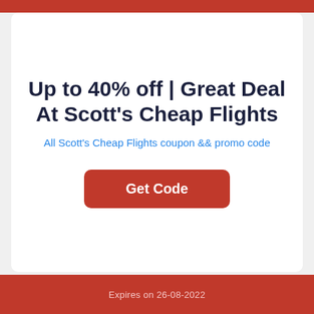Up to 40% off | Great Deal At Scott's Cheap Flights
All Scott's Cheap Flights coupon && promo code
Get Code
Expires on 26-08-2022